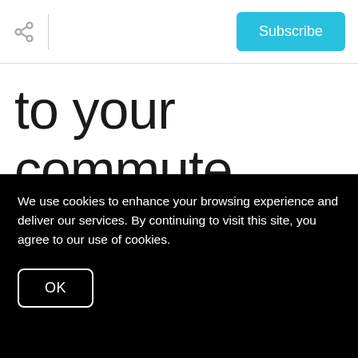Share | Subscribe
to your commute.
While you may not think you'll mind that extra hour on the road each way in order to have a garage to call your
We use cookies to enhance your browsing experience and deliver our services. By continuing to visit this site, you agree to our use of cookies.
OK